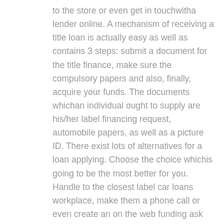to the store or even get in touchwitha lender online. A mechanism of receiving a title loan is actually easy as well as contains 3 steps: submit a document for the title finance, make sure the compulsory papers and also, finally, acquire your funds. The documents whichan individual ought to supply are his/her label financing request, automobile papers, as well as a picture ID. There exist lots of alternatives for a loan applying. Choose the choice whichis going to be the most better for you. Handle to the closest label car loans workplace, make them a phone call or even create an on the web funding ask for. Many lenders ask for vehicle photographor even look it over in person. When your demand is actually approved, your automobile papers need to be actually moved to a loan provider. As soon as the financing recipient takes the conditions as well as signs the treaty, she or he should cover the car loan.